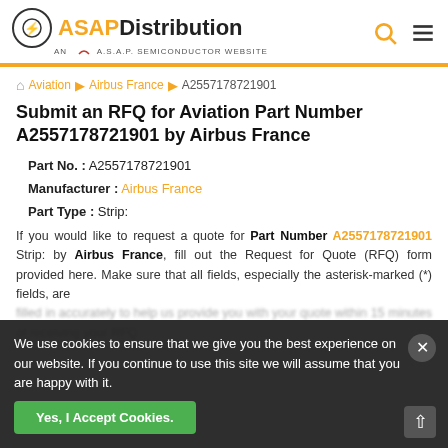[Figure (logo): ASAP Distribution logo with lightning bolt icon and tagline AN A.S.A.P. SEMICONDUCTOR WEBSITE]
Aviation ▶ Airbus France ▶ A2557178721901
Submit an RFQ for Aviation Part Number A2557178721901 by Airbus France
Part No. : A2557178721901
Manufacturer : Airbus France
Part Type : Strip:
If you would like to request a quote for Part Number A2557178721901 Strip: by Airbus France, fill out the Request for Quote (RFQ) form provided here. Make sure that all fields, especially the asterisk-marked (*) fields, are
We use cookies to ensure that we give you the best experience on our website. If you continue to use this site we will assume that you are happy with it.
Yes, I Accept Cookies.